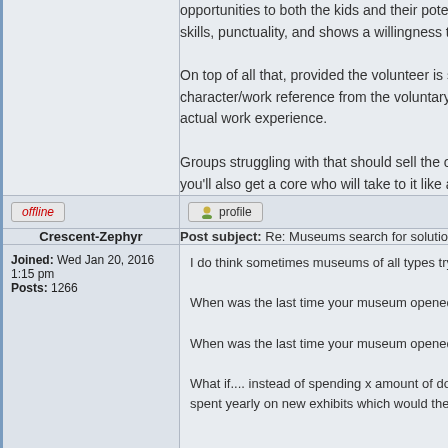opportunities to both the kids and their potential skills, punctuality, and shows a willingness to w

On top of all that, provided the volunteer is show character/work reference from the voluntary org actual work experience.

Groups struggling with that should sell the orga you'll also get a core who will take to it like a du
offline
profile
Crescent-Zephyr
Post subject: Re: Museums search for solutions to reverse at
Joined: Wed Jan 20, 2016 1:15 pm
Posts: 1266
I do think sometimes museums of all types try t

When was the last time your museum opened u

When was the last time your museum opened u

What if.... instead of spending x amount of dolla spent yearly on new exhibits which would then
offline
profile